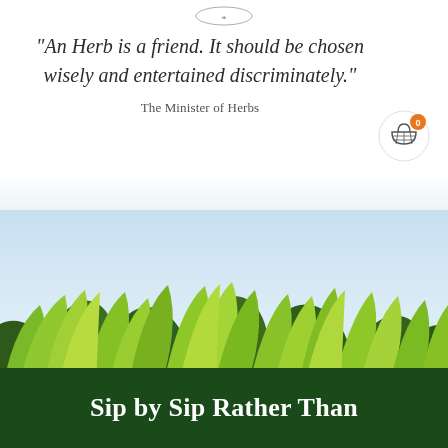[Figure (logo): Small decorative logo/emblem at top center of page]
"An Herb is a friend. It should be chosen wisely and entertained discriminately."
The Minister of Herbs
[Figure (illustration): Shopping basket/cart icon with orange badge showing 0]
[Figure (photo): Close-up photograph of lush green herb/tea leaves against a light blue sky background]
Sip by Sip Rather Than